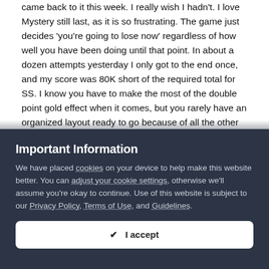came back to it this week. I really wish I hadn't. I love Mystery still last, as it is so frustrating. The game just decides 'you're going to lose now' regardless of how well you have been doing until that point. In about a dozen attempts yesterday I only got to the end once, and my score was 80K short of the required total for SS. I know you have to make the most of the double point gold effect when it comes, but you rarely have an organized layout ready to go because of all the other shite you have to deal with. If you take too long setting up a T-spin/Tetris the gold phase just ends and you've wasted it.

So I resorted to doing it on endless mode today, and cleared it on the second attempt. I still have to watch the video back to see if I
Important Information
We have placed cookies on your device to help make this website better. You can adjust your cookie settings, otherwise we'll assume you're okay to continue. Use of this website is subject to our Privacy Policy, Terms of Use, and Guidelines.
✔ I accept